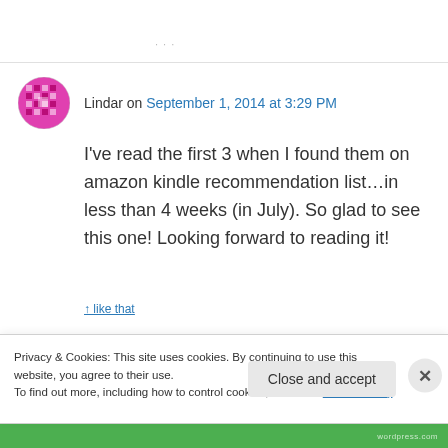· · ·
Lindar on September 1, 2014 at 3:29 PM
I've read the first 3 when I found them on amazon kindle recommendation list…in less than 4 weeks (in July). So glad to see this one! Looking forward to reading it!
Privacy & Cookies: This site uses cookies. By continuing to use this website, you agree to their use.
To find out more, including how to control cookies, see here: Cookie Policy
Close and accept